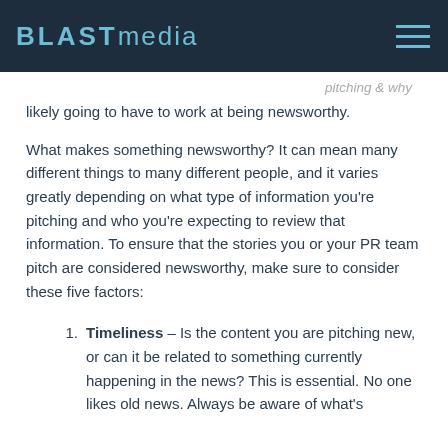BLASTmedia
likely going to have to work at being newsworthy.
What makes something newsworthy? It can mean many different things to many different people, and it varies greatly depending on what type of information you're pitching and who you're expecting to review that information. To ensure that the stories you or your PR team pitch are considered newsworthy, make sure to consider these five factors:
Timeliness – Is the content you are pitching new, or can it be related to something currently happening in the news? This is essential. No one likes old news. Always be aware of what's